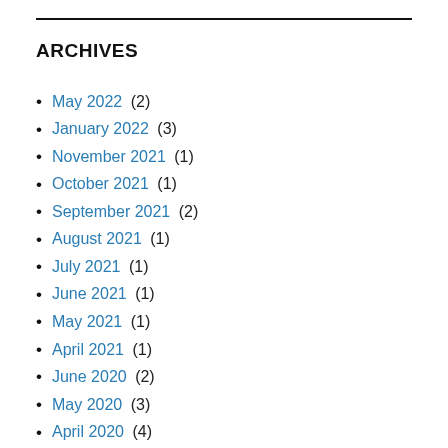ARCHIVES
May 2022 (2)
January 2022 (3)
November 2021 (1)
October 2021 (1)
September 2021 (2)
August 2021 (1)
July 2021 (1)
June 2021 (1)
May 2021 (1)
April 2021 (1)
June 2020 (2)
May 2020 (3)
April 2020 (4)